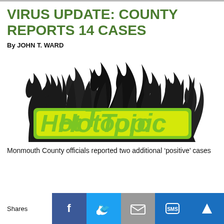VIRUS UPDATE: COUNTY REPORTS 14 CASES
By JOHN T. WARD
[Figure (logo): Hot Topic logo: bold yellow and green text reading 'HotTopic' with large black flame graphics surrounding it]
Monmouth County officials reported two additional ‘positive’ cases
Shares [Facebook] [Twitter] [Email] [SMS] [Other]